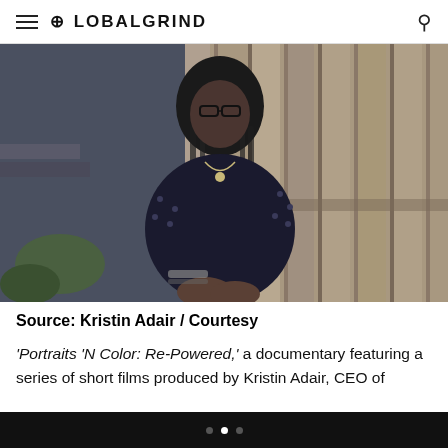GLOBALGRIND
[Figure (photo): A woman with long braided hair and glasses, wearing a dark polka-dot blouse and a necklace, seated outdoors in front of a weathered wooden fence]
Source: Kristin Adair / Courtesy
'Portraits 'N Color: Re-Powered,' a documentary featuring a series of short films produced by Kristin Adair, CEO of